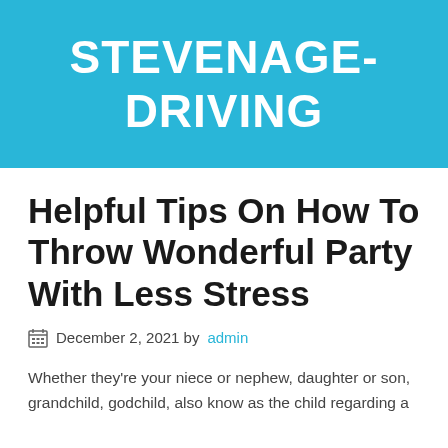STEVENAGE-DRIVING
Helpful Tips On How To Throw Wonderful Party With Less Stress
December 2, 2021 by admin
Whether they're your niece or nephew, daughter or son, grandchild, godchild, also know as the child regarding a